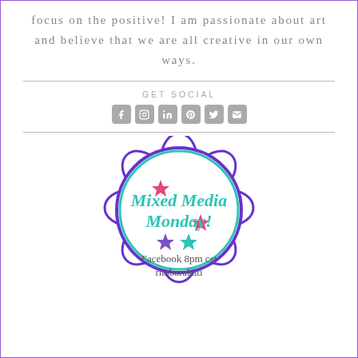focus on the positive! I am passionate about art and believe that we are all creative in our own ways.
GET SOCIAL
[Figure (infographic): Decorative mandala/flower-shaped logo for Mixed Media Monday. A purple mandala flower outline circle with petal shapes around it. Inside: colorful stars (pink, purple, teal) and text 'Mixed Media Monday! Facebook 8pm cst ritabarakati' in teal script font.]